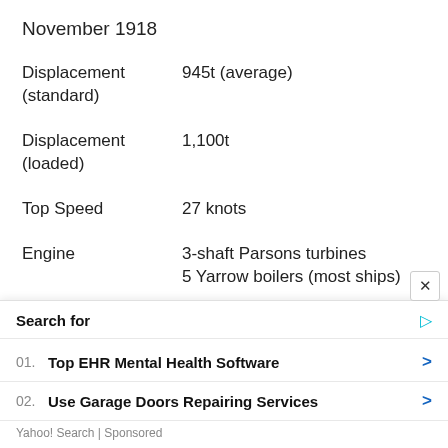November 1918
Displacement (standard)	945t (average)
Displacement (loaded)	1,100t
Top Speed	27 knots
Engine	3-shaft Parsons turbines
5 Yarrow boilers (most ships)
Range
Length	263ft 11.25in pp
Search for
01. Top EHR Mental Health Software
02. Use Garage Doors Repairing Services
Yahoo! Search | Sponsored